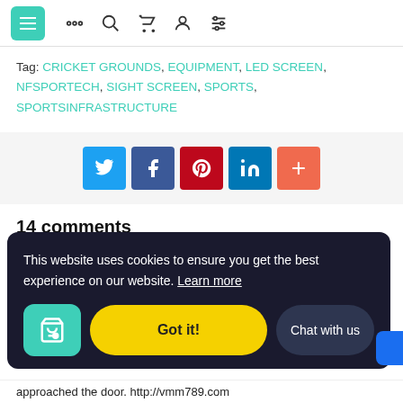Navigation bar with menu, search, cart, account, and filter icons
Tag: CRICKET GROUNDS, EQUIPMENT, LED SCREEN, NFSPORTECH, SIGHT SCREEN, SPORTS, SPORTSINFRASTRUCTURE
[Figure (infographic): Social share buttons: Twitter, Facebook, Pinterest, LinkedIn, More (+)]
14 comments
This website uses cookies to ensure you get the best experience on our website. Learn more
Got it!
Chat with us
approached the door. http://vmm789.com